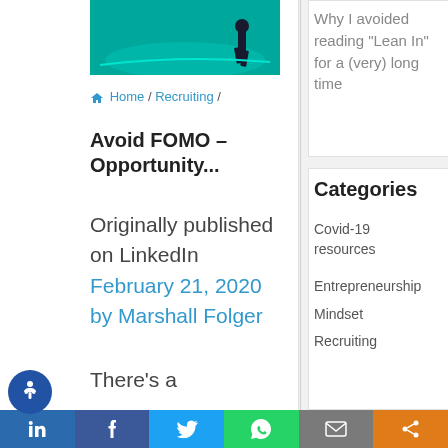[Figure (illustration): Partial view of a teal/green illustrated graphic showing a person figure at the bottom right]
Home / Recruiting /
Avoid FOMO – Opportunity...
Originally published on LinkedIn February 21, 2020 by Marshall Folger
There's a
Why I avoided reading "Lean In" for a (very) long time
Categories
Covid-19 resources
Entrepreneurship
Mindset
Recruiting